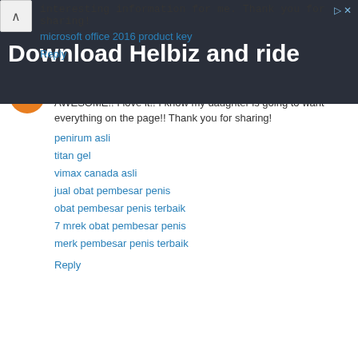[Figure (screenshot): Advertisement banner for 'Download Helbiz and ride' app, dark background with person holding camera equipment]
interesting information for me. Thank you for sharing!
microsoft office 2016 product key
Reply
Unknown  June 8, 2018 at 10:03 PM
AWESOME!! I love it!! I know my daughter is going to want everything on the page!! Thank you for sharing!
penirum asli
titan gel
vimax canada asli
jual obat pembesar penis
obat pembesar penis terbaik
7 mrek obat pembesar penis
merk pembesar penis terbaik
Reply